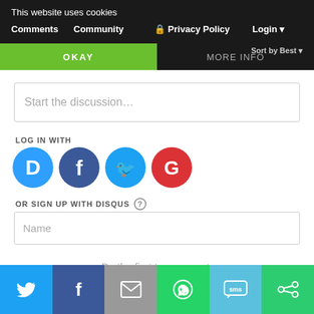This website uses cookies
Comments   Community   Privacy Policy   Login
OKAY   MORE INFO
Sort by Best
Start the discussion…
LOG IN WITH
[Figure (logo): Social login icons: Disqus (D, blue), Facebook (f, dark blue), Twitter (bird, light blue), Google (G, red)]
OR SIGN UP WITH DISQUS ?
Name
Be the first to comment.
[Figure (infographic): Share bar with Twitter, Facebook, Email, WhatsApp, SMS, and another share icon buttons]